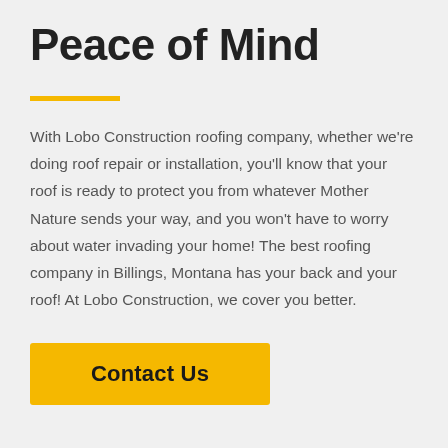Peace of Mind
With Lobo Construction roofing company, whether we're doing roof repair or installation, you'll know that your roof is ready to protect you from whatever Mother Nature sends your way, and you won't have to worry about water invading your home! The best roofing company in Billings, Montana has your back and your roof! At Lobo Construction, we cover you better.
Contact Us